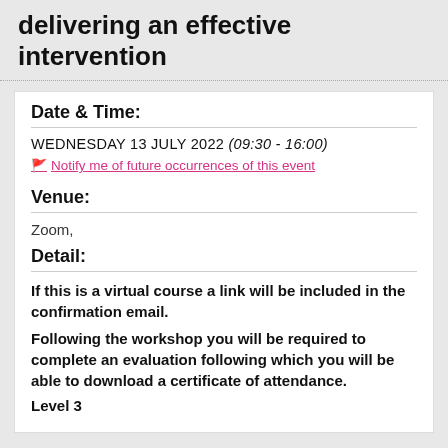delivering an effective intervention
Date & Time:
WEDNESDAY 13 JULY 2022 (09:30 - 16:00)
🚩 Notify me of future occurrences of this event
Venue:
Zoom,
Detail:
If this is a virtual course a link will be included in the confirmation email.
Following the workshop you will be required to complete an evaluation following which you will be able to download a certificate of attendance.
Level 3